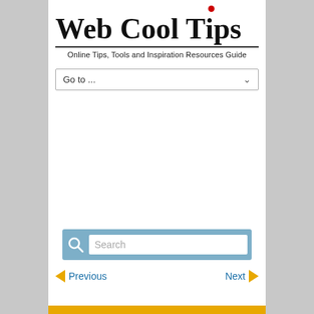Web Cool Tips
Online Tips, Tools and Inspiration Resources Guide
[Figure (screenshot): Dropdown selector with text 'Go to ...' and a chevron arrow on the right]
[Figure (screenshot): Search bar with blue background, magnifying glass icon, and white search input field with placeholder text 'Search']
◄ Previous    Next ►